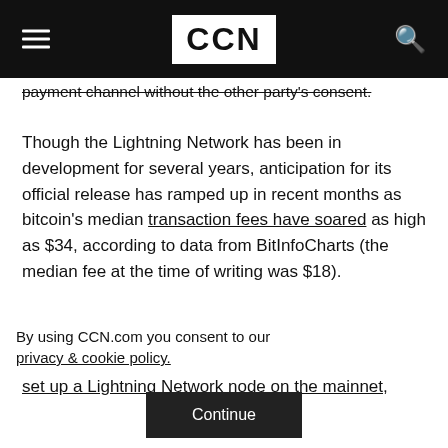CCN
payment channel without the other party's consent.
Though the Lightning Network has been in development for several years, anticipation for its official release has ramped up in recent months as bitcoin's median transaction fees have soared as high as $34, according to data from BitInfoCharts (the median fee at the time of writing was $18).
It's important to stress that although it is possible to set up a Lightning Network node on the mainnet,
By using CCN.com you consent to our privacy & cookie policy.
Continue